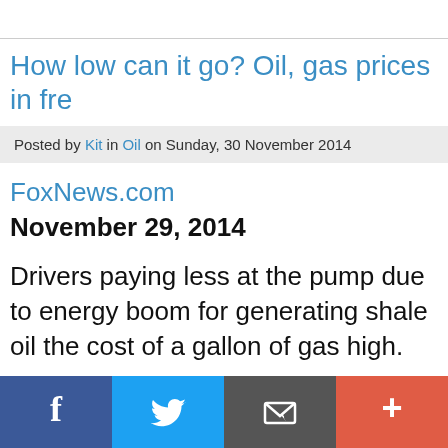How low can it go? Oil, gas prices in fre
Posted by Kit in Oil on Sunday, 30 November 2014
FoxNews.com
November 29, 2014
Drivers paying less at the pump due to energy boom for generating shale oil the cost of a gallon of gas high.
f  [twitter]  [email]  +